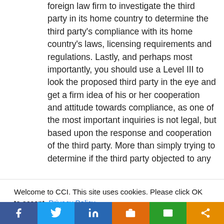foreign law firm to investigate the third party in its home country to determine the third party's compliance with its home country's laws, licensing requirements and regulations. Lastly, and perhaps most importantly, you should use a Level III to look the proposed third party in the eye and get a firm idea of his or her cooperation and attitude towards compliance, as one of the most important inquiries is not legal, but based upon the response and cooperation of the third party. More than simply trying to determine if the third party objected to any
Welcome to CCI. This site uses cookies. Please click OK to accept. Privacy Policy
Cookie settings  ACCEPT